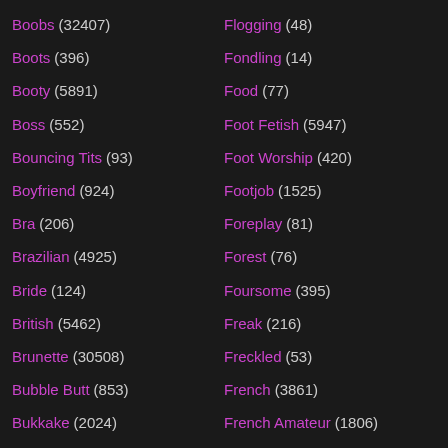Boobs (32407)
Boots (396)
Booty (5891)
Boss (552)
Bouncing Tits (93)
Boyfriend (924)
Bra (206)
Brazilian (4925)
Bride (124)
British (5462)
Brunette (30508)
Bubble Butt (853)
Bukkake (2024)
Bus (456)
Busty (10020)
Busty Amateur (1371)
Flogging (48)
Fondling (14)
Food (77)
Foot Fetish (5947)
Foot Worship (420)
Footjob (1525)
Foreplay (81)
Forest (76)
Foursome (395)
Freak (216)
Freckled (53)
French (3861)
French Amateur (1806)
French Anal (788)
French Casting (148)
French Cumshots (?)